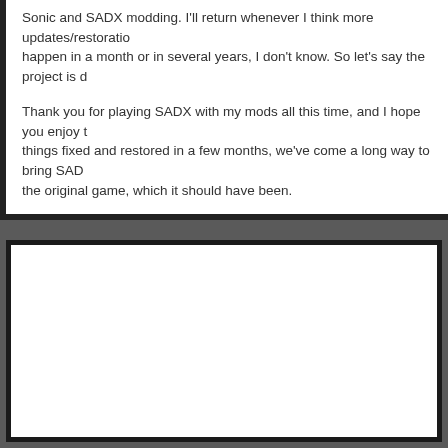Sonic and SADX modding. I'll return whenever I think more updates/restorations could happen in a month or in several years, I don't know. So let's say the project is d...
Thank you for playing SADX with my mods all this time, and I hope you enjoy th... things fixed and restored in a few months, we've come a long way to bring SAD... the original game, which it should have been.
Bye for now. See you next time!
PkR
[Figure (other): White content area with dark border below a dotted gray divider strip]